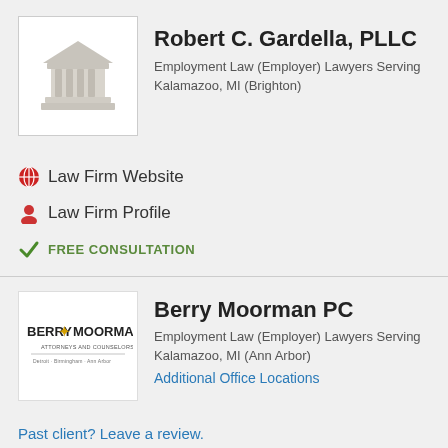[Figure (logo): Courthouse/pillars icon for Robert C. Gardella, PLLC]
Robert C. Gardella, PLLC
Employment Law (Employer) Lawyers Serving Kalamazoo, MI (Brighton)
Law Firm Website
Law Firm Profile
FREE CONSULTATION
[Figure (logo): Berry Moorman Attorneys and Counselors logo]
Berry Moorman PC
Employment Law (Employer) Lawyers Serving Kalamazoo, MI (Ann Arbor)
Additional Office Locations
Past client? Leave a review.
Law Firm Profile